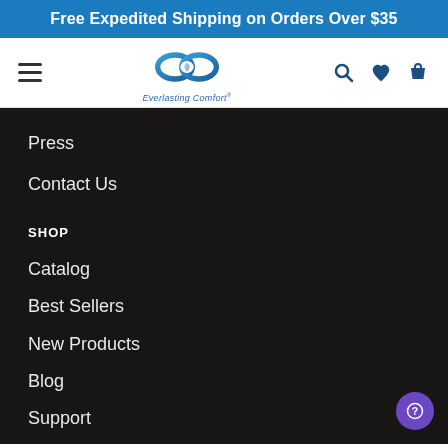Free Expedited Shipping on Orders Over $35
[Figure (logo): Everlasting Comfort infinity loop logo with text 'Everlasting Comfort' below, in blue tones]
Press
Contact Us
SHOP
Catalog
Best Sellers
New Products
Blog
Support